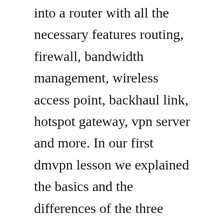into a router with all the necessary features routing, firewall, bandwidth management, wireless access point, backhaul link, hotspot gateway, vpn server and more. In our first dmvpn lesson we explained the basics and the differences of the three phases. Vyos router single network os for many roles and platforms. Dynamic multipoint vpn dmvpn is a cisco ios software solution for building scalable ipsec virtual private networks vpns. It uses udp port 4500 to send the ipsec traffic instead of ip protocol 50 esp and ip protocol 51 ah. Dmvpn stands for dynamic multipoint